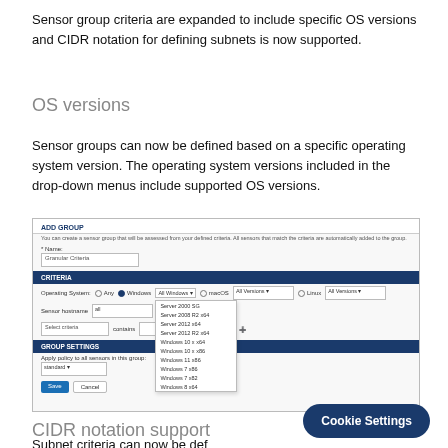Sensor group criteria are expanded to include specific OS versions and CIDR notation for defining subnets is now supported.
OS versions
Sensor groups can now be defined based on a specific operating system version. The operating system versions included in the drop-down menus include supported OS versions.
[Figure (screenshot): Screenshot of an ADD GROUP dialog showing OS version dropdown with a list of Windows versions including Server 2000 SG, Server 2008 R2 x64, Server 2012 x64, Server 2012 R2 x64, Windows 10 x x64, Windows 10 x x86, Windows 11 x86, Windows 7 x86, Windows 7 x82, Windows 8 x64]
CIDR notation support
Subnet criteria can now be def